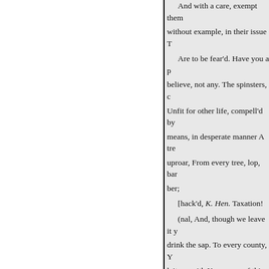And with a care, exempt them without example, in their issue T
Are to be fear'd. Have you a p believe, not any. The spinsters, c Unfit for other life, compell'd by means, in desperate manner A tre uproar, From every tree, lop, bar ber;
[hack'd, K. Hen. Taxation!
(nal, And, though we leave it y drink the sap. To every county, Y leiters, with Know you of this ta
Fr
Wol. Please you, Sir,
The force of this commission
I put it to your care. Pertains t tell steps with me.
[To the SECRETARY. Q. Kath
Let there be letters writ to eve